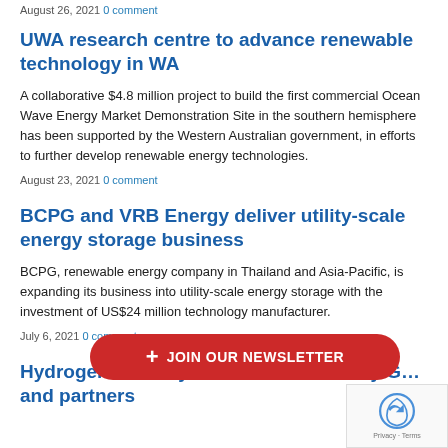August 26, 2021 0 comment
UWA research centre to advance renewable technology in WA
A collaborative $4.8 million project to build the first commercial Ocean Wave Energy Market Demonstration Site in the southern hemisphere has been supported by the Western Australian government, in efforts to further develop renewable energy technologies.
August 23, 2021 0 comment
BCPG and VRB Energy deliver utility-scale energy storage business
BCPG, renewable energy company in Thailand and Asia-Pacific, is expanding its business into utility-scale energy storage with the investment of US$24 million technology manufacturer.
July 6, 2021 0 comment
Hydrogen Industry Mission launched by G and partners